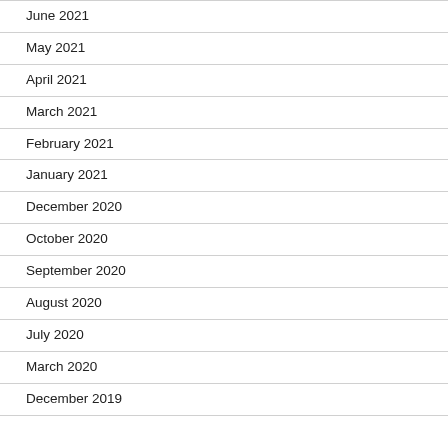June 2021
May 2021
April 2021
March 2021
February 2021
January 2021
December 2020
October 2020
September 2020
August 2020
July 2020
March 2020
December 2019